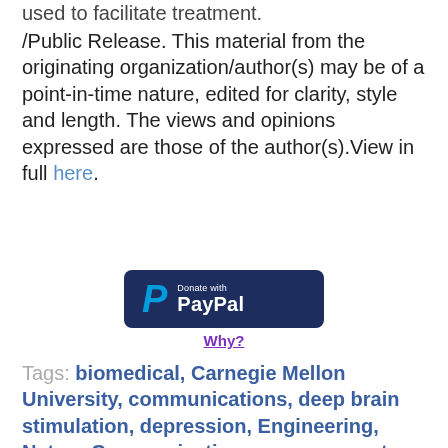used to facilitate treatment.
/Public Release. This material from the originating organization/author(s) may be of a point-in-time nature, edited for clarity, style and length. The views and opinions expressed are those of the author(s).View in full here.
[Figure (logo): PayPal Donate button with dark navy background, blue P logo, and white text reading 'Donate with PayPal']
Why?
Tags: biomedical, Carnegie Mellon University, communications, deep brain stimulation, depression, Engineering, Nature Communications, nervous system, neuroscience, Professor, resolution, sensitivity, technique, technology, ultrasound, university